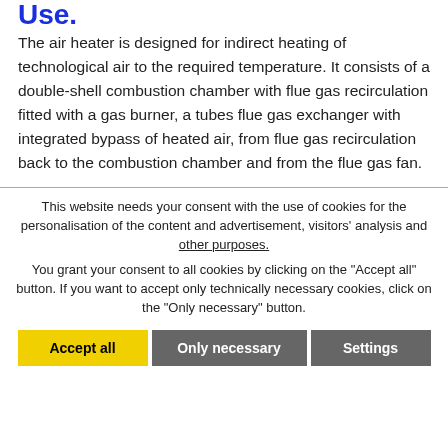Use.
The air heater is designed for indirect heating of technological air to the required temperature. It consists of a double-shell combustion chamber with flue gas recirculation fitted with a gas burner, a tubes flue gas exchanger with integrated bypass of heated air, from flue gas recirculation back to the combustion chamber and from the flue gas fan.
This website needs your consent with the use of cookies for the personalisation of the content and advertisement, visitors' analysis and other purposes.
You grant your consent to all cookies by clicking on the "Accept all" button. If you want to accept only technically necessary cookies, click on the "Only necessary" button.